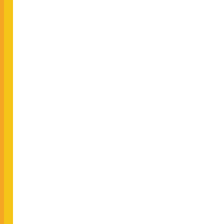| No. | Date | Title |
| --- | --- | --- |
| 666. | 16/12/2016 | CORRECTION Examination... |
| 667. | 16/12/2016 | CORRECTION Examination... |
| 668. | 16/12/2016 | CHANGE in Population E... 2016) |
| 669. | 16/12/2016 | ADDITION in SEMESTER... |
| 670. | 15/12/2016 | ADDITIONS 7114) Exami... |
| 671. | 09/12/2016 | ADDITION in (Bajwara) Ex... |
| 672. | 08/12/2016 | CHANGE: LL PU) Exam. (... |
| 673. | 07/12/2016 | ADDITION: L (December-2... |
| 674. | 07/12/2016 | CHANGES: (December-2... |
| 675. | 07/12/2016 | ADDITIONS: (December-2... |
| 676. | 07/12/2016 | CHANGE: B... |